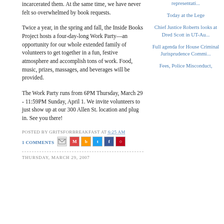incarcerated them. At the same time, we have never felt so overwhelmed by book requests.
Twice a year, in the spring and fall, the Inside Books Project hosts a four-day-long Work Party—an opportunity for our whole extended family of volunteers to get together in a fun, festive atmosphere and accomplish tons of work. Food, music, prizes, massages, and beverages will be provided.
The Work Party runs from 6PM Thursday, March 29 - 11:59PM Sunday, April 1. We invite volunteers to just show up at our 300 Allen St. location and plug in. See you there!
POSTED BY GRITSFORBREAKFAST AT 6:25 AM
1 COMMENTS
THURSDAY, MARCH 29, 2007
representati...
Today at the Lege
Chief Justice Roberts looks at Dred Scott in UT-Au...
Full agenda for House Criminal Jurisprudence Commi...
Fees, Police Misconduct,